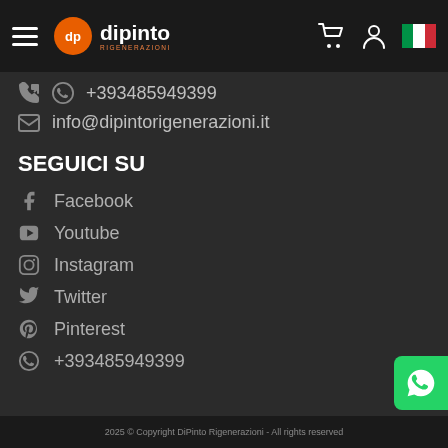[Figure (screenshot): Navigation bar with hamburger menu, Dipinto Rigenerazioni logo, shopping cart icon, user icon, and Italian flag]
+393485949399
info@dipintorigenerazioni.it
SEGUICI SU
Facebook
Youtube
Instagram
Twitter
Pinterest
+393485949399
2025 © Copyright DiPinto Rigenerazioni - All rights reserved